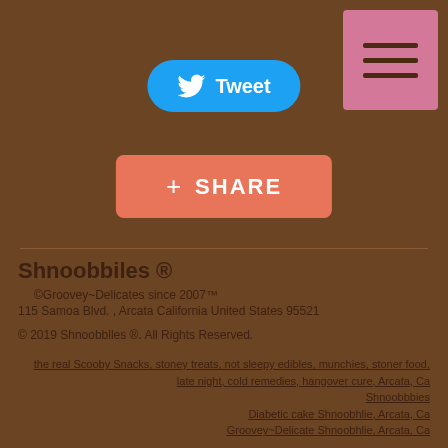[Figure (other): Hamburger menu icon button with pink/mauve background]
[Figure (other): Twitter Tweet button with bird icon, blue rounded pill shape]
[Figure (other): Google+ Share button with plus icon, coral/salmon rounded rectangle]
Shnoobbiles ®
©Groovey~Delicates since 2007™
115 Samoa Blvd. , Arcata California United States 95521
© 2019 Shnoobblles ®. All Rights Reserved.
the real Scooby Snacks, stoney treats, not sleepy edibles, munchies, stoner food, late night, cold remedies, hangover cure, Arcata, Ca
Shnoobbbies
Diabetic cake Shnoobhlie, Arcata, Ca
Groovey~Delicate Shnoobhlie, Arcata, Ca